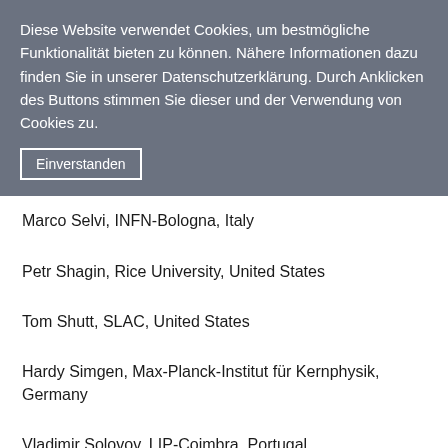Diese Website verwendet Cookies, um bestmögliche Funktionalität bieten zu können. Nähere Informationen dazu finden Sie in unserer Datenschutzerklärung. Durch Anklicken des Buttons stimmen Sie dieser und der Verwendung von Cookies zu.
Einverstanden
Marco Selvi, INFN-Bologna, Italy
Petr Shagin, Rice University, United States
Tom Shutt, SLAC, United States
Hardy Simgen, Max-Planck-Institut für Kernphysik, Germany
Vladimir Solovov, LIP-Coimbra, Portugal
Peter Sorensen, United States